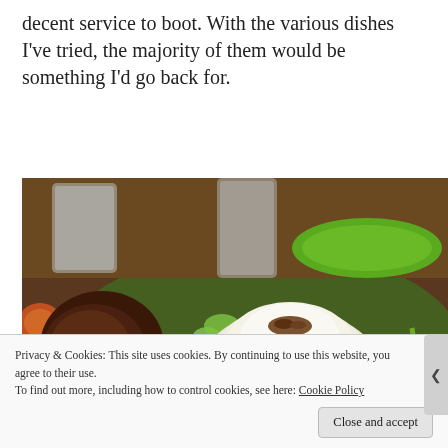decent service to boot. With the various dishes I've tried, the majority of them would be something I'd go back for.
[Figure (photo): Close-up photo of a nasi lemak or similar Southeast Asian rice dish — a dome of white rice topped with fried shallots, accompanied by brown rendang/curry, green cucumber slices, and chili peppers, served on a banana leaf. Glasses of water visible in background.]
Privacy & Cookies: This site uses cookies. By continuing to use this website, you agree to their use.
To find out more, including how to control cookies, see here: Cookie Policy
Close and accept